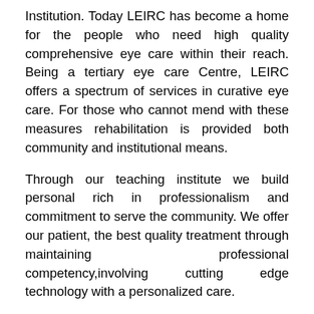Institution. Today LEIRC has become a home for the people who need high quality comprehensive eye care within their reach. Being a tertiary eye care Centre, LEIRC offers a spectrum of services in curative eye care. For those who cannot mend with these measures rehabilitation is provided both community and institutional means.
Through our teaching institute we build personal rich in professionalism and commitment to serve the community. We offer our patient, the best quality treatment through maintaining professional competency,involving cutting edge technology with a personalized care.
We believe in holistic approach. We believe that healing is not just curing so our      patient gets compassionate care at LEIRC. These achievements were possible by the blessing of God and utmost cooperation, sincere and hard working from the valued staff of NNJS and at...